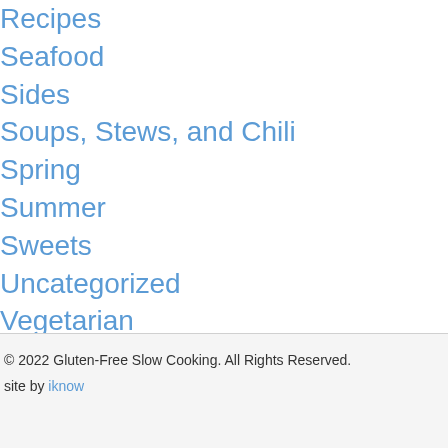Recipes
Seafood
Sides
Soups, Stews, and Chili
Spring
Summer
Sweets
Uncategorized
Vegetarian
Winter
Now Available
© 2022 Gluten-Free Slow Cooking. All Rights Reserved.
site by iknow